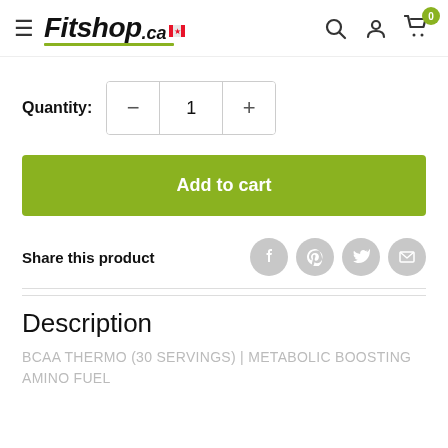[Figure (logo): Fitshop.ca logo with hamburger menu icon on the left and search, account, and cart icons on the right]
Quantity: − 1 +
Add to cart
Share this product
Description
BCAA THERMO (30 SERVINGS) | METABOLIC BOOSTING AMINO FUEL